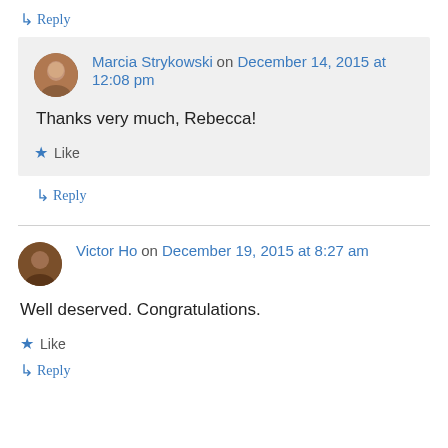↳ Reply
Marcia Strykowski on December 14, 2015 at 12:08 pm
Thanks very much, Rebecca!
★ Like
↳ Reply
Victor Ho on December 19, 2015 at 8:27 am
Well deserved. Congratulations.
★ Like
↳ Reply